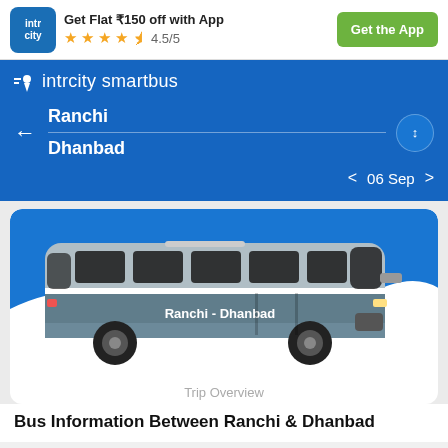Get Flat ₹150 off with App | ★★★★½ 4.5/5 | Get the App
intrcity smartbus
Ranchi
Dhanbad
06 Sep
[Figure (illustration): Illustration of a blue and white inter-city bus with text 'Ranchi - Dhanbad' on the side, displayed on a blue background with a white wave.]
Trip Overview
Bus Information Between Ranchi & Dhanbad